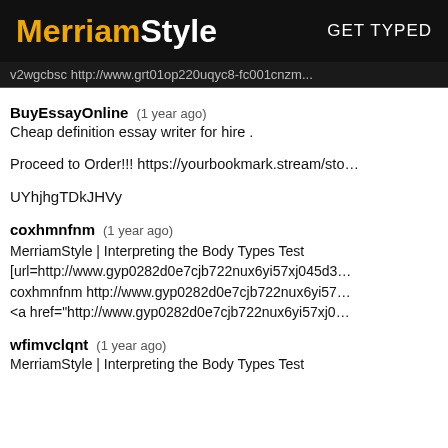MerriamStyle  GET TYPED
v2wgcbsc http://www.grt01op220uqyc8-fc001cnzm...
BuyEssayOnline  (1 year ago)
Cheap definition essay writer for hire .
Proceed to Order!!! https://yourbookmark.stream/sto...
UYhjhgTDkJHVy
coxhmnfnm  (1 year ago)
MerriamStyle | Interpreting the Body Types Test
[url=http://www.gyp0282d0e7cjb722nux6yi57xj045d3...
coxhmnfnm http://www.gyp0282d0e7cjb722nux6yi57...
<a href="http://www.gyp0282d0e7cjb722nux6yi57xj0...
wfimvclqnt  (1 year ago)
MerriamStyle | Interpreting the Body Types Test